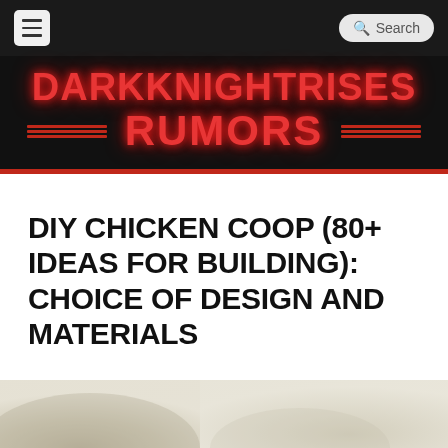DARKKNIGHTRISES RUMORS
DIY CHICKEN COOP (80+ IDEAS FOR BUILDING): CHOICE OF DESIGN AND MATERIALS
[Figure (photo): Bottom portion of an outdoor photo showing blurred natural background, likely a chicken coop or garden setting]